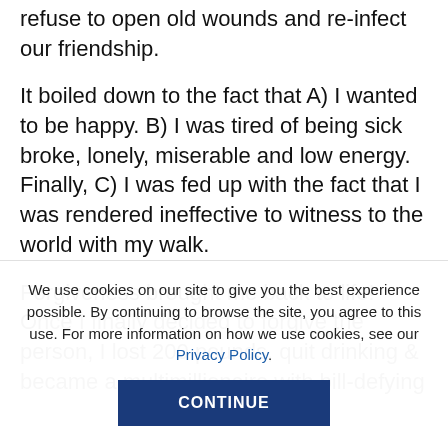refuse to open old wounds and re-infect our friendship.
It boiled down to the fact that A) I wanted to be happy. B) I was tired of being sick broke, lonely, miserable and low energy. Finally, C) I was fed up with the fact that I was rendered ineffective to witness to the world with my walk.
Forgiveness brought me back to life! Once I finally decided to forgive the person, I lost 200 pounds, quit drinking & became a multimillionaire with bill-defying...
We use cookies on our site to give you the best experience possible. By continuing to browse the site, you agree to this use. For more information on how we use cookies, see our Privacy Policy.
CONTINUE